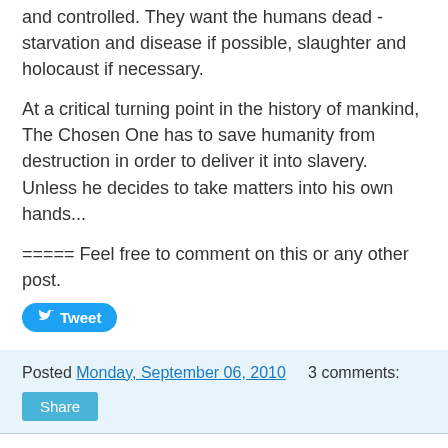and controlled. They want the humans dead - starvation and disease if possible, slaughter and holocaust if necessary.
At a critical turning point in the history of mankind, The Chosen One has to save humanity from destruction in order to deliver it into slavery. Unless he decides to take matters into his own hands...
===== Feel free to comment on this or any other post.
[Figure (screenshot): Tweet button (blue rounded button with Twitter bird icon and text 'Tweet')]
Posted Monday, September 06, 2010   3 comments:
[Figure (screenshot): Share button (blue rectangular button with text 'Share')]
#FridayFlash: The Chosen One
The Chosen One
by Tony Noland